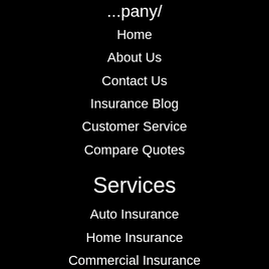...pany/
Home
About Us
Contact Us
Insurance Blog
Customer Service
Compare Quotes
Services
Auto Insurance
Home Insurance
Commercial Insurance